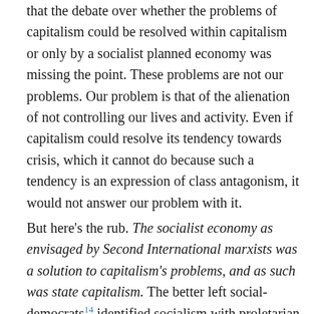that the debate over whether the problems of capitalism could be resolved within capitalism or only by a socialist planned economy was missing the point. These problems are not our problems. Our problem is that of the alienation of not controlling our lives and activity. Even if capitalism could resolve its tendency towards crisis, which it cannot do because such a tendency is an expression of class antagonism, it would not answer our problem with it.
But here's the rub. The socialist economy as envisaged by Second International marxists was a solution to capitalism's problems, and as such was state capitalism. The better left social-democrats[14] identified socialism with proletarian self-emancipation, but their underlying conflict with the state capitalist position of both the right and centre of the party became